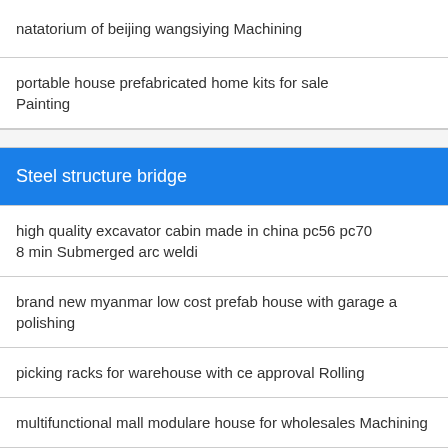natatorium of beijing wangsiying Machining
portable house prefabricated home kits for sale Painting
Steel structure bridge
high quality excavator cabin made in china pc56 pc70 8 min Submerged arc weldi
brand new myanmar low cost prefab house with garage a polishing
picking racks for warehouse with ce approval Rolling
multifunctional mall modulare house for wholesales Machining